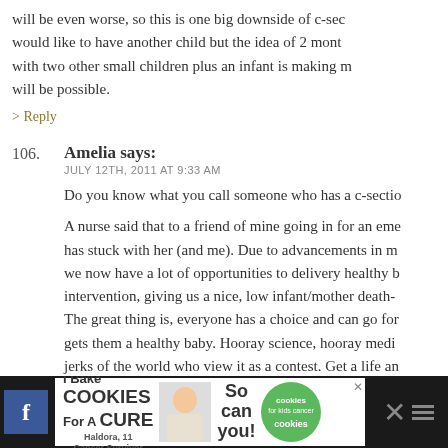will be even worse, so this is one big downside of c-sec... would like to have another child but the idea of 2 mont... with two other small children plus an infant is making m... will be possible.
> Reply
106. Amelia says:
JULY 12TH, 2011 AT 9:33 AM
Do you know what you call someone who has a c-sectio... A nurse said that to a friend of mine going in for an eme... has stuck with her (and me). Due to advancements in m... we now have a lot of opportunities to delivery healthy b... intervention, giving us a nice, low infant/mother death-... The great thing is, everyone has a choice and can go for... gets them a healthy baby. Hooray science, hooray medi... jerks of the world who view it as a contest. Get a life an... that matters to focus on.
> Reply
[Figure (screenshot): Advertisement banner: 'I Bake COOKIES For A CURE' with image of child and 'So can you!' text and cookies for kids cancer logo]